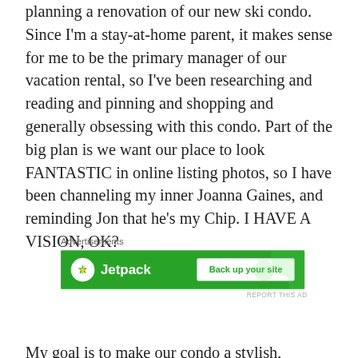planning a renovation of our new ski condo. Since I'm a stay-at-home parent, it makes sense for me to be the primary manager of our vacation rental, so I've been researching and reading and pinning and shopping and generally obsessing with this condo. Part of the big plan is we want our place to look FANTASTIC in online listing photos, so I have been channeling my inner Joanna Gaines, and reminding Jon that he's my Chip. I HAVE A VISION, OK?
[Figure (other): Jetpack advertisement banner with green background showing Jetpack logo on the left and 'Back up your site' button on the right. Above the banner is 'Advertisements' label. Below is 'REPORT THIS AD' text.]
My goal is to make our condo a stylish, rustic/industrial (no cliche lodge furniture or generic decor for us!), family-friendly destination. Because I know what it's like to travel with little kids, I especially want to make it the number one unit people want to rent when bringing kids